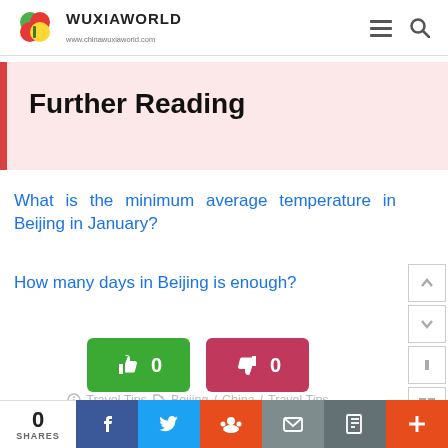WUXIAWORLD www.chinawuxiaworld.com
Further Reading
What is the minimum average temperature in Beijing in January?
How many days in Beijing is enough?
0 (thumbs up) | 0 (thumbs down)
Travel Tips  Beijing / China / Travel Tips
0 SHARES | Facebook | Twitter | Reddit | Email | Print | +